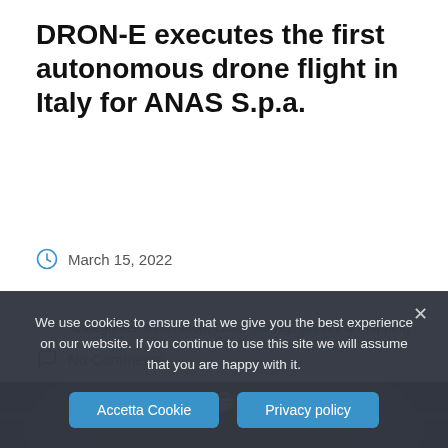DRON-E executes the first autonomous drone flight in Italy for ANAS S.p.a.
March 15, 2022
Categories: Innovation, LiDar Survey, Survey & Mapping
No Comments
[Figure (photo): Fisheye/360-degree photo inside a tunnel, showing the curved interior with lighting.]
We use cookies to ensure that we give you the best experience on our website. If you continue to use this site we will assume that you are happy with it.